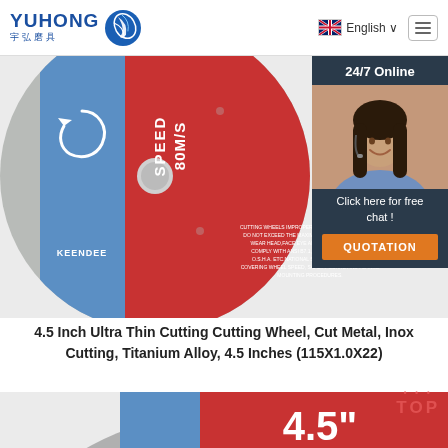[Figure (logo): Yuhong brand logo with blue dragon icon and Chinese characters 宇弘磨具]
[Figure (photo): 4.5 inch KEENDEE cutting wheel disc, red and silver, showing SPEED 80M/S label, WARNING text, barcode, and safety certification symbols]
[Figure (photo): Chat widget overlay showing 24/7 Online, woman with headset, Click here for free chat, QUOTATION button]
4.5 Inch Ultra Thin Cutting Cutting Wheel, Cut Metal, Inox Cutting, Titanium Alloy, 4.5 Inches (115X1.0X22)
[Figure (photo): Partial bottom view of red 4.5 inch cutting wheel showing 4.5" text]